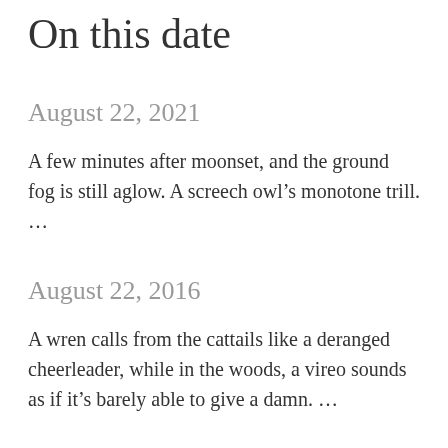On this date
August 22, 2021
A few minutes after moonset, and the ground fog is still aglow. A screech owl’s monotone trill. …
August 22, 2016
A wren calls from the cattails like a deranged cheerleader, while in the woods, a vireo sounds as if it’s barely able to give a damn. …
August 22, 2015
Even at late morning, it’s chilly when the sun goes in. The yard is now white with snakeroot